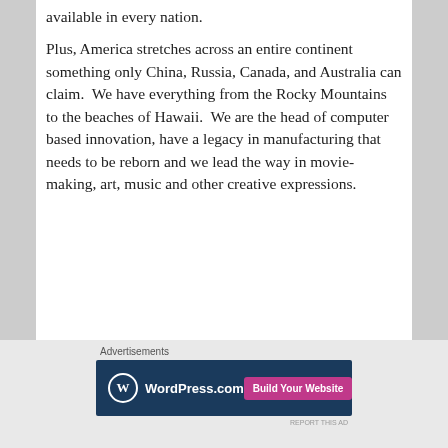available in every nation.
Plus, America stretches across an entire continent something only China, Russia, Canada, and Australia can claim.  We have everything from the Rocky Mountains to the beaches of Hawaii.  We are the head of computer based innovation, have a legacy in manufacturing that needs to be reborn and we lead the way in movie-making, art, music and other creative expressions.
[Figure (screenshot): WordPress.com advertisement banner with blue background, WordPress logo, and pink 'Build Your Website' button]